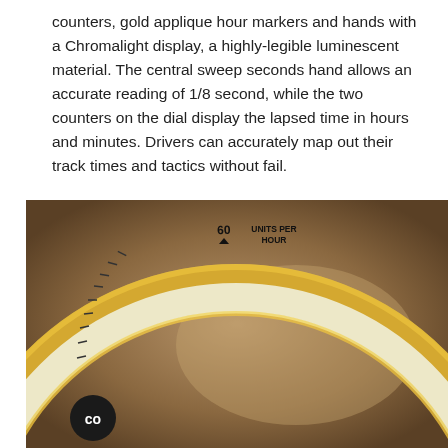counters, gold applique hour markers and hands with a Chromalight display, a highly-legible luminescent material. The central sweep seconds hand allows an accurate reading of 1/8 second, while the two counters on the dial display the lapsed time in hours and minutes. Drivers can accurately map out their track times and tactics without fail.
[Figure (photo): Close-up photograph of a gold watch bezel (tachymeter ring) with markings including numbers 60, 65, 70, 75, 80, 85 on the left side and 240, 300, 400 on the right side, along with 'UNITS PER HOUR' text. The bezel has a cream/white scale face with black numerals and triangular markers against a gold metallic ring. Background is a warm brown/tan gradient.]